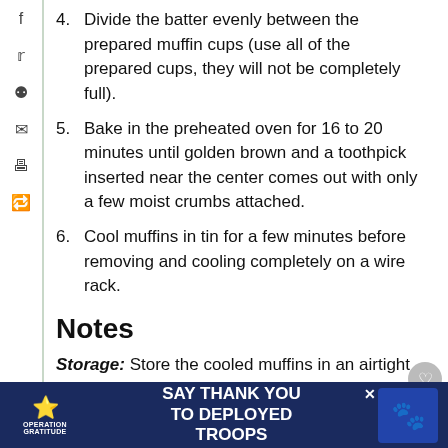4. Divide the batter evenly between the prepared muffin cups (use all of the prepared cups, they will not be completely full).
5. Bake in the preheated oven for 16 to 20 minutes until golden brown and a toothpick inserted near the center comes out with only a few moist crumbs attached.
6. Cool muffins in tin for a few minutes before removing and cooling completely on a wire rack.
Notes
Storage: Store the cooled muffins in an airtight container at cool room temperature for 2 days, the refrigerator for 1 week or the freezer for … months.
Maple syrup option: The maple syrup can be…
[Figure (infographic): Operation Gratitude advertisement banner: Say Thank You To Deployed Troops, with star logo and cartoon character on right]
[Figure (infographic): What's Next overlay showing Vegan Blueberry O... with thumbnail]